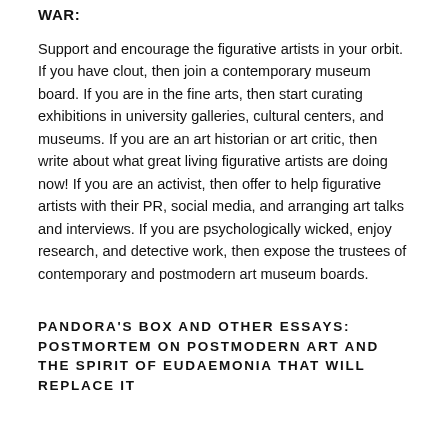WAR:
Support and encourage the figurative artists in your orbit. If you have clout, then join a contemporary museum board. If you are in the fine arts, then start curating exhibitions in university galleries, cultural centers, and museums. If you are an art historian or art critic, then write about what great living figurative artists are doing now! If you are an activist, then offer to help figurative artists with their PR, social media, and arranging art talks and interviews. If you are psychologically wicked, enjoy research, and detective work, then expose the trustees of contemporary and postmodern art museum boards.
PANDORA'S BOX AND OTHER ESSAYS: POSTMORTEM ON POSTMODERN ART AND THE SPIRIT OF EUDAEMONIA THAT WILL REPLACE IT